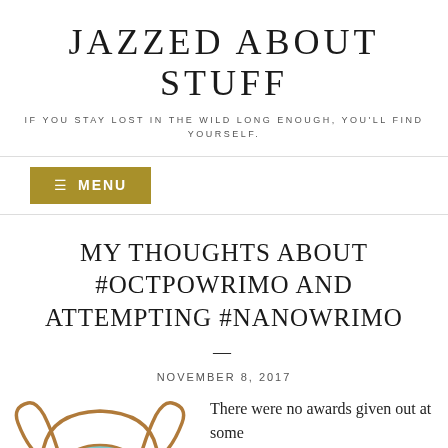JAZZED ABOUT STUFF
IF YOU STAY LOST IN THE WILD LONG ENOUGH, YOU'LL FIND YOURSELF.
≡  MENU
MY THOUGHTS ABOUT #OCTPOWRIMO AND ATTEMPTING #NANOWRIMO
NOVEMBER 8, 2017
[Figure (illustration): Viking helmet illustration, outline style with horns and blue visor]
There were no awards given out at some